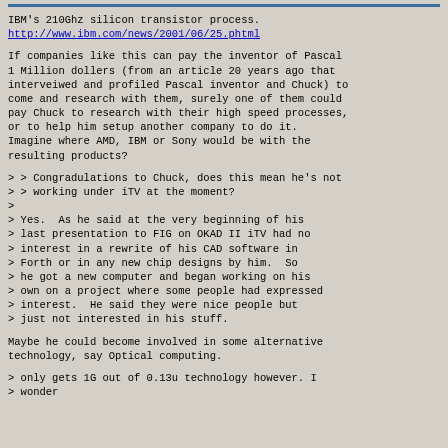IBM's 210Ghz silicon transistor process.
http://www.ibm.com/news/2001/06/25.phtml
If companies like this can pay the inventor of Pascal 1 Million dollers (from an article 20 years ago that interveiwed and profiled Pascal inventor and Chuck) to come and research with them, surely one of them could pay Chuck to research with their high speed processes, or to help him setup another company to do it. Imagine where AMD, IBM or Sony would be with the resulting products?
> > Congradulations to Chuck, does this mean he's not
> > working under iTV at the moment?
>
> Yes.  As he said at the very beginning of his
> last presentation to FIG on OKAD II iTV had no
> interest in a rewrite of his CAD software in
> Forth or in any new chip designs by him.  So
> he got a new computer and began working on his
> own on a project where some people had expressed
> interest.  He said they were nice people but
> just not interested in his stuff.
Maybe he could become involved in some alternative technology, say Optical computing.
> only gets 1G out of 0.13u technology however. I
> wonder